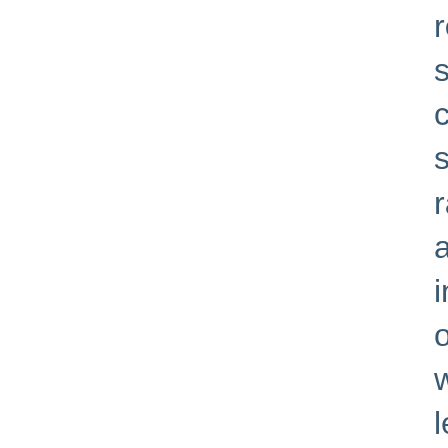remaining original fabric. Restoration of the structure and modesty screen. Construction of column, to match orignal existing column or support the gallery above. Removal of non-o ramp to west of the former church, restoration and provision of new removable ramp. Rem infill from the stone buttresses and, where re of new limestone. Removal of concrete bloc windows. Repair or, if required, replace ston leaded glass. Repair external timber doors w remove modern additions. Restore and clea former church, including: walls, dressings, t internal stone stairs cases. Repair or, if requ slates, flashing, ridge pieces and rainwater c of new lime plaster to internal walls. Internal be cleaned and decorated. Construction of n structure (c. 12 sq.m) in the Vestry roof to a Construction of new stone ground floor abov original floor slab and a new raised stone flo